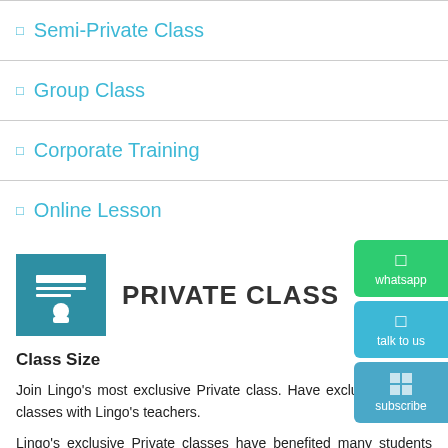Semi-Private Class
Group Class
Corporate Training
Online Lesson
PRIVATE CLASS
Class Size
Join Lingo's most exclusive Private class. Have exclusive 1 on 1 classes with Lingo's teachers.
Lingo's exclusive Private classes have benefited many students over the years. Get to interact with your teacher more at your own time and pace. Learning languages is a skill based training which requires lots of practice and having our teachers all to yourself will immerse you in the right